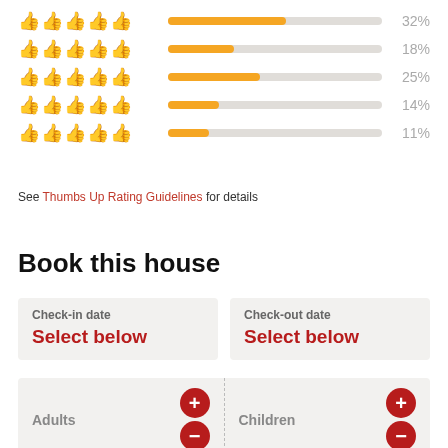[Figure (bar-chart): Thumbs up rating distribution]
See Thumbs Up Rating Guidelines for details
Book this house
Check-in date
Select below
Check-out date
Select below
Adults
Children